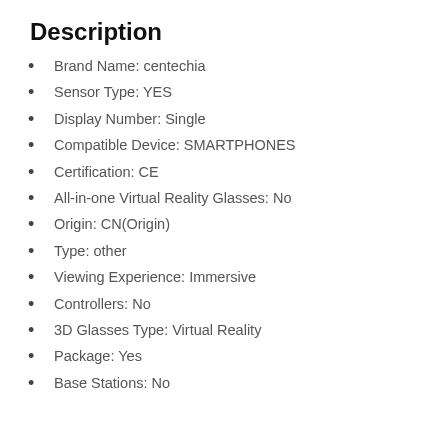Description
Brand Name: centechia
Sensor Type: YES
Display Number: Single
Compatible Device: SMARTPHONES
Certification: CE
All-in-one Virtual Reality Glasses: No
Origin: CN(Origin)
Type: other
Viewing Experience: Immersive
Controllers: No
3D Glasses Type: Virtual Reality
Package: Yes
Base Stations: No